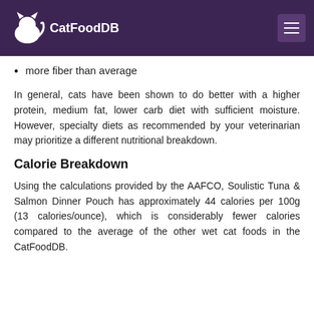CatFoodDB
more fiber than average
In general, cats have been shown to do better with a higher protein, medium fat, lower carb diet with sufficient moisture. However, specialty diets as recommended by your veterinarian may prioritize a different nutritional breakdown.
Calorie Breakdown
Using the calculations provided by the AAFCO, Soulistic Tuna & Salmon Dinner Pouch has approximately 44 calories per 100g (13 calories/ounce), which is considerably fewer calories compared to the average of the other wet cat foods in the CatFoodDB.